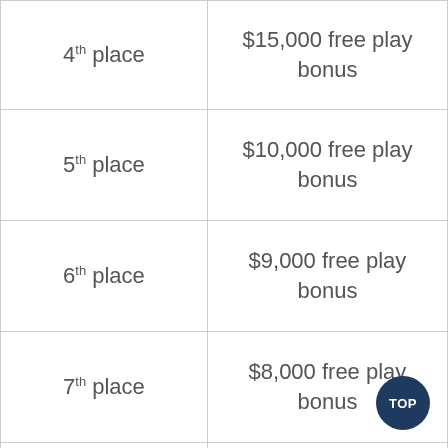| Place | Prize |
| --- | --- |
| 4th place | $15,000 free play bonus |
| 5th place | $10,000 free play bonus |
| 6th place | $9,000 free play bonus |
| 7th place | $8,000 free play bonus |
| 8th place | $7,000 free play bonus |